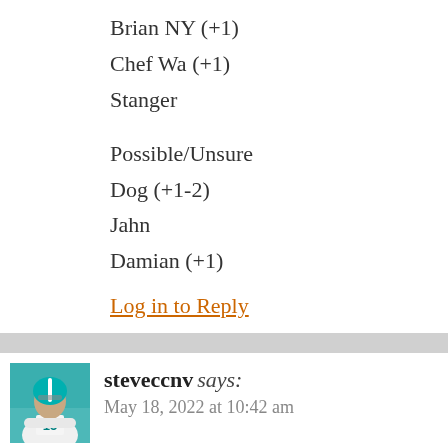Brian NY (+1)
Chef Wa (+1)
Stanger
Possible/Unsure
Dog (+1-2)
Jahn
Damian (+1)
Log in to Reply
steveccnv says:
May 18, 2022 at 10:42 am
[Figure (photo): Avatar photo of a football player wearing jersey number 15 in Miami Dolphins teal uniform]
22nd in rushing yards in 2020 wasn't horrible and 15 shouldn't be too hard to accomplish
Nola was 15th in 2021 at 117.1 ypg 1991 yards, v